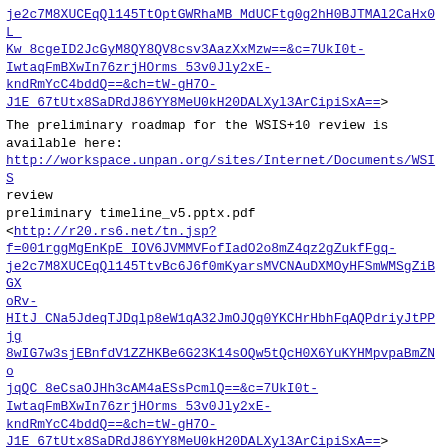je2c7M8XUCEqQl145TtOptGWRhaMB_MdUCFtg0g2hH0BJTMAl2CaHx0L_Kw_8cgeID2JcGyM8QY8QV8csv3AazXxMzw==&c=7UkI0t-IwtaqFmBXwIn76zrjHOrms_53v0Jly2xE-kndRmYcC4bddQ==&ch=tW-gH7O-J1E_67tUtx8SaDRdJ86YY8MeU0kH20DALXyl3ArCipiSxA==>
The preliminary roadmap for the WSIS+10 review is available here:
http://workspace.unpan.org/sites/Internet/Documents/WSIS review
preliminary timeline_v5.pptx.pdf
<http://r20.rs6.net/tn.jsp?f=001rggMgEnKpE_IOV6JVMMVFofIadO2o8mZ4qz2gZukfFgq-je2c7M8XUCEqQl145TtvBc6J6f0mKyarsMVCNAuDXMOyHFSmWMSgZiBGXoRv-HItJ_CNa5JdeqTJDql p8eW1qA32JmOJQq0YKCHrHbhFqAQPdriyJtPPjg8wIG7w3sjEBnfdV1ZZHKBe6G23K14sOQw5tQcH0X6YuKYHMpvpaBmZNojqQC_8eCsaOJHh3cAM4aESsPcmlQ==&c=7UkI0t-IwtaqFmBXwIn76zrjHOrms_53v0Jly2xE-kndRmYcC4bddQ==&ch=tW-gH7O-J1E_67tUtx8SaDRdJ86YY8MeU0kH20DALXyl3ArCipiSxA==>
Please sign up to the social media accounts below for updates.
Black Stripes
<http://ui.constantcontact.com/sa/fwtf.jsp?m=1114497358550&a=1121541260412&ea=m.i.franklin%40gold.ac...>
*
United Nations News...